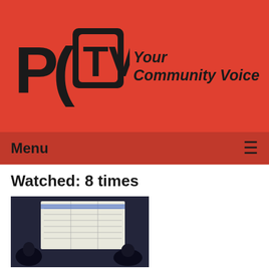[Figure (logo): PCTV logo with TV screen icon and tagline 'Your Community Voice' on red background]
Menu ≡
Watched: 8 times
[Figure (screenshot): Thumbnail image of a village board meeting showing a projected document on screen with people in foreground]
The Village Board Meeting of 08-13-18
Airdate: 08/13/2018
Watched: 9 times